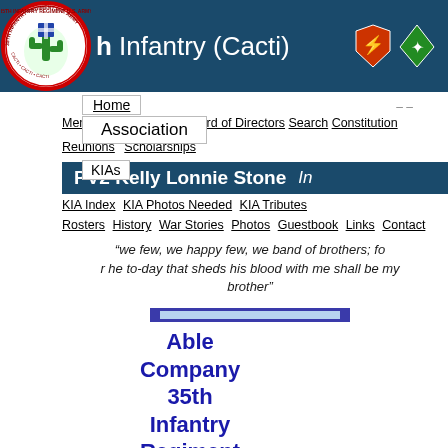35th Infantry (Cacti)
[Figure (logo): 35th Infantry Regiment circular emblem logo with cactus and red border]
[Figure (logo): Two military unit badges - lightning bolt shield and 4-leaf clover diamond]
Home
Association
Membership Purpose Board of Directors Constitution
Reunions Scholarships
KIAs
PV2 Kelly Lonnie Stone   In
KIA Index KIA Photos Needed KIA Tributes
Rosters History War Stories Photos Guestbook Links Contact
"we few, we happy few, we band of brothers; for he to-day that sheds his blood with me shall be my brother"
Able Company 35th Infantry Regiment Korean War